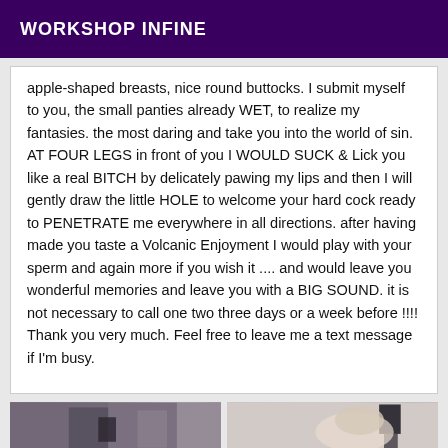WORKSHOP INFINE
apple-shaped breasts, nice round buttocks. I submit myself to you, the small panties already WET, to realize my fantasies. the most daring and take you into the world of sin. AT FOUR LEGS in front of you I WOULD SUCK & Lick you like a real BITCH by delicately pawing my lips and then I will gently draw the little HOLE to welcome your hard cock ready to PENETRATE me everywhere in all directions. after having made you taste a Volcanic Enjoyment I would play with your sperm and again more if you wish it .... and would leave you wonderful memories and leave you with a BIG SOUND. it is not necessary to call one two three days or a week before !!!! Thank you very much. Feel free to leave me a text message if I'm busy.
[Figure (photo): Two side-by-side photos at the bottom of the page, partially visible. Left photo appears to show a dark interior scene. Right photo appears to show a person with blonde hair and a black lamp.]